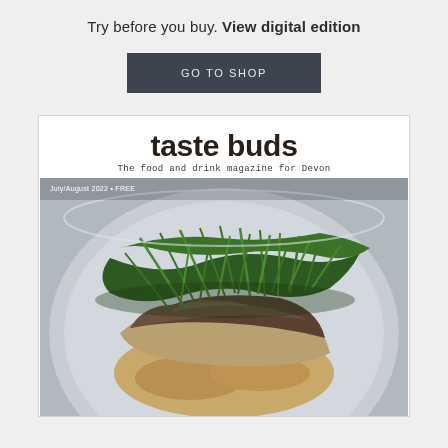Try before you buy. View digital edition
GO TO SHOP
taste buds
The food and drink magazine for Devon
[Figure (photo): Magazine cover showing a close-up food photo of a fish fillet topped with samphire greens on a plate, with text 'July/August 2022 • FREE' visible in top left corner]